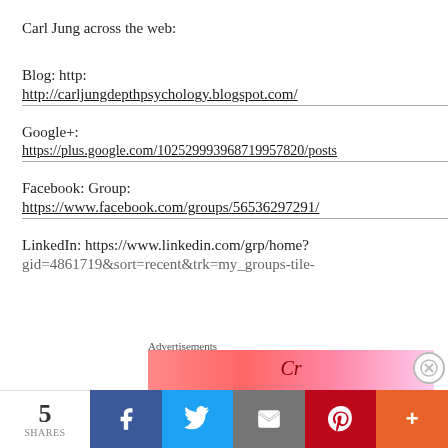Carl Jung across the web:
Blog: http:
http://carljungdepthpsychology.blogspot.com/
Google+:
https://plus.google.com/102529993968719957820/posts
Facebook: Group:
https://www.facebook.com/groups/56536297291/
LinkedIn: https://www.linkedin.com/grp/home?
gid=4861719&sort=recent&trk=my_groups-tile-
Advertisements
5 SHARES